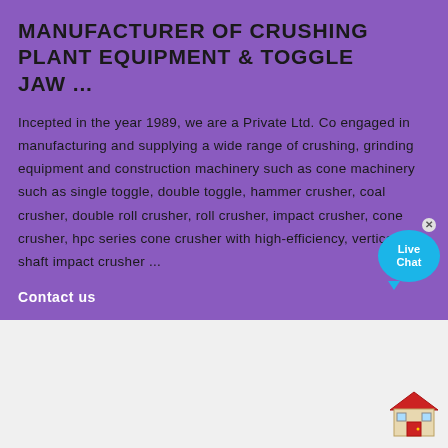MANUFACTURER OF CRUSHING PLANT EQUIPMENT & TOGGLE JAW ...
Incepted in the year 1989, we are a Private Ltd. Co engaged in manufacturing and supplying a wide range of crushing, grinding equipment and construction machinery such as cone machinery such as single toggle, double toggle, hammer crusher, coal crusher, double roll crusher, roll crusher, impact crusher, cone crusher, hpc series cone crusher with high-efficiency, vertical shaft impact crusher ...
Contact us
[Figure (illustration): Photograph/render of a crushing plant machinery structure with steel framework]
[Figure (illustration): Live Chat bubble icon overlay (teal circle with 'Live Chat' text)]
[Figure (illustration): House/warehouse icon in red and beige at bottom right]